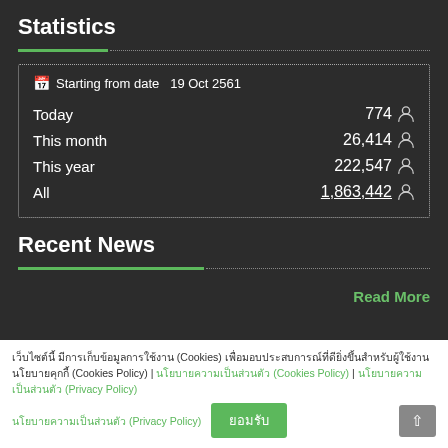Statistics
|  |  |
| --- | --- |
| Starting from date | 19 Oct 2561 |
| Today | 774 |
| This month | 26,414 |
| This year | 222,547 |
| All | 1,863,442 |
Recent News
Read More
เว็บไซต์นี้ มีการเก็บข้อมูลการใช้งาน (Cookies) เพื่อมอบประสบการณ์ที่ดียิ่งขึ้นสำหรับผู้ใช้งาน นโยบายคุกกี้ (Cookies Policy) | นโยบายความเป็นส่วนตัว (Privacy Policy)
ยอมรับ